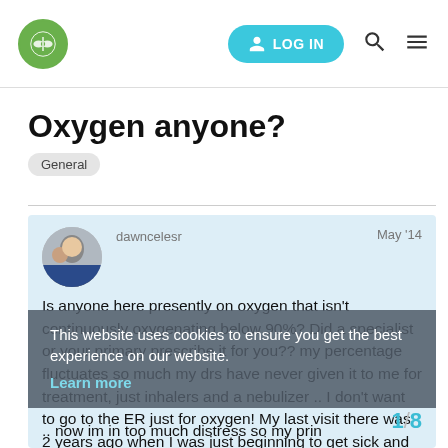[Figure (logo): Green circle logo with leaf/flower icon]
LOG IN
Oxygen anyone?
General
dawncelesr   May '14
Is anyone here presently on oxygen that isn't continuously oxygenating below 90%? Did a specialist or your primary prescribe it for you?? my percentage fluctuates so much my drs have never given it to me for treatment, just inhalers and a nebulizer .. I don't want to go to the ER just for oxygen! My last visit there was 2 years ago when I was just beginning to get sick and short of breath so I didn't know what to do but neither did the hospital.
This website uses cookies to ensure you get the best experience on our website. Learn more
.. now im in too much distress so my prin
1 / 8